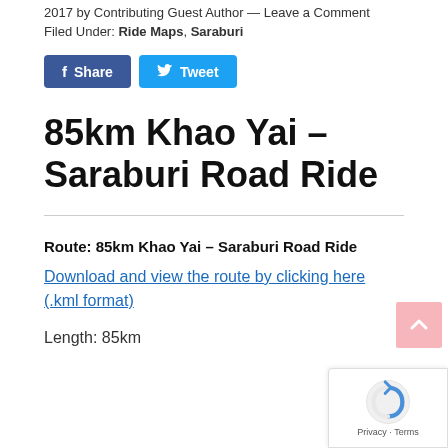2017 by Contributing Guest Author — Leave a Comment
Filed Under: Ride Maps, Saraburi
[Figure (other): Facebook Share and Twitter Tweet social buttons]
85km Khao Yai – Saraburi Road Ride
Route: 85km Khao Yai – Saraburi Road Ride
Download and view the route by clicking here (.kml format)
Length: 85km